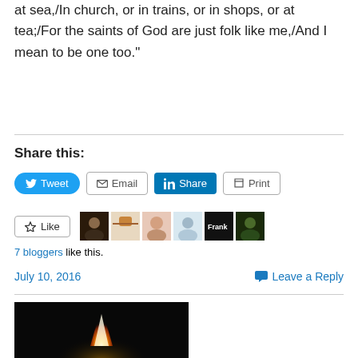at sea,/In church, or in trains, or in shops, or at tea;/For the saints of God are just folk like me,/And I mean to be one too."
Share this:
Tweet  Email  Share  Print
Like  7 bloggers like this.
July 10, 2016   Leave a Reply
[Figure (photo): A candle flame against a dark background, with a bright orange/white flame visible.]